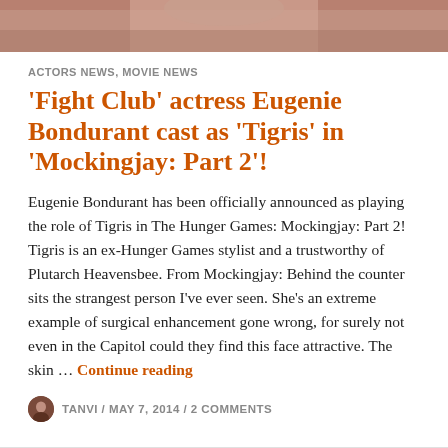[Figure (photo): Cropped photo of a woman with dark hair, showing the lower part of her face/chin area at the top of the page.]
ACTORS NEWS, MOVIE NEWS
'Fight Club' actress Eugenie Bondurant cast as 'Tigris' in 'Mockingjay: Part 2'!
Eugenie Bondurant has been officially announced as playing the role of Tigris in The Hunger Games: Mockingjay: Part 2! Tigris is an ex-Hunger Games stylist and a trustworthy of Plutarch Heavensbee. From Mockingjay: Behind the counter sits the strangest person I've ever seen. She's an extreme example of surgical enhancement gone wrong, for surely not even in the Capitol could they find this face attractive. The skin … Continue reading
TANVI / MAY 7, 2014 / 2 COMMENTS